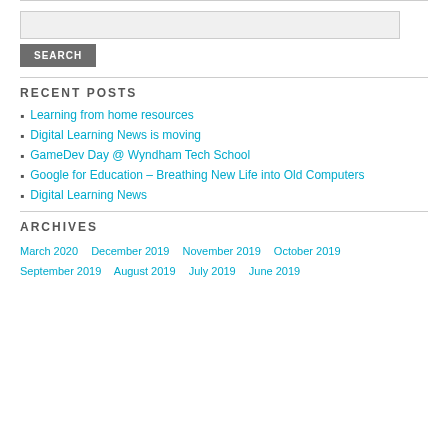[Figure (other): Search input box and search button]
RECENT POSTS
Learning from home resources
Digital Learning News is moving
GameDev Day @ Wyndham Tech School
Google for Education – Breathing New Life into Old Computers
Digital Learning News
ARCHIVES
March 2020   December 2019   November 2019   October 2019   September 2019   August 2019   July 2019   June 2019